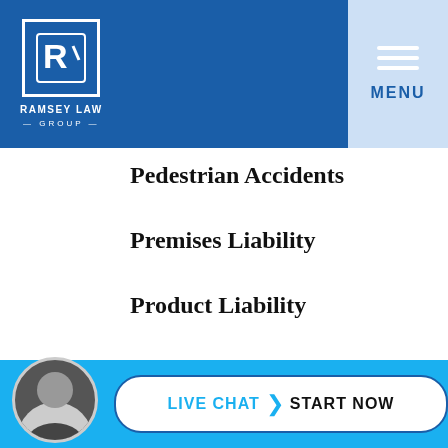[Figure (logo): Ramsey Law Group logo in white on blue header background, with hamburger menu button on the right]
Pedestrian Accidents
Premises Liability
Product Liability
Spinal Cord Injuries
Truck Accidents
[Figure (infographic): Live chat button with attorney photo avatar, reading LIVE CHAT > START NOW]